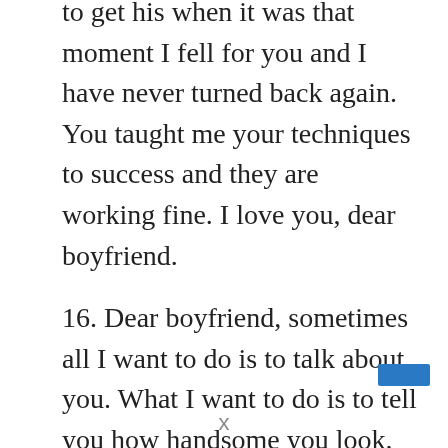to get his when it was that moment I fell for you and I have never turned back again. You taught me your techniques to success and they are working fine. I love you, dear boyfriend.
16. Dear boyfriend, sometimes all I want to do is to talk about you. What I want to do is to tell you how handsome you look. You are handsome in all ramifications. You are handsome mentally, handsome physically, handsome financially, handsome influentially, handsome with every sense of respect and dignity. I will always love you forever